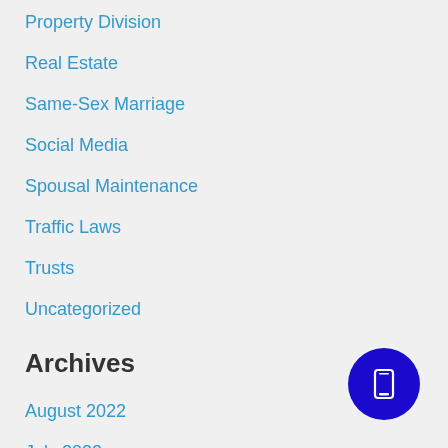Property Division
Real Estate
Same-Sex Marriage
Social Media
Spousal Maintenance
Traffic Laws
Trusts
Uncategorized
Archives
August 2022
July 2022
May 2022
April 2022